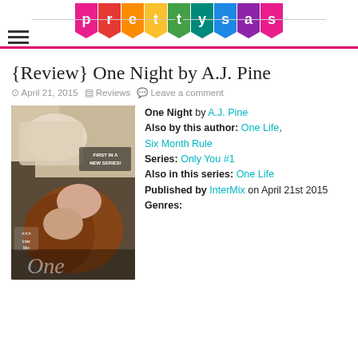PRETTY SASSY COOL
{Review} One Night by A.J. Pine
April 21, 2015  Reviews  Leave a comment
[Figure (photo): Book cover of 'One Night' by A.J. Pine showing two people lying down about to kiss, with text 'FIRST IN A NEW SERIES!' and InterMix publisher logo]
One Night by A.J. Pine
Also by this author: One Life, Six Month Rule
Series: Only You #1
Also in this series: One Life
Published by InterMix on April 21st 2015
Genres: